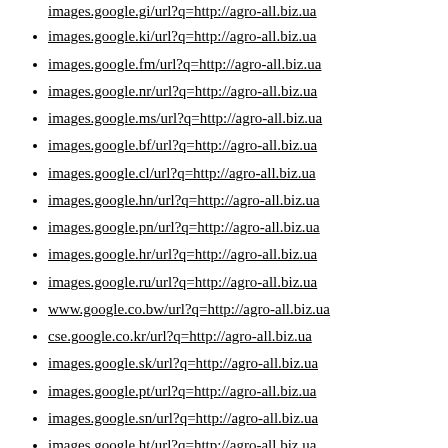images.google.gi/url?q=http://agro-all.biz.ua (partial, top)
images.google.ki/url?q=http://agro-all.biz.ua
images.google.fm/url?q=http://agro-all.biz.ua
images.google.nr/url?q=http://agro-all.biz.ua
images.google.ms/url?q=http://agro-all.biz.ua
images.google.bf/url?q=http://agro-all.biz.ua
images.google.cl/url?q=http://agro-all.biz.ua
images.google.hn/url?q=http://agro-all.biz.ua
images.google.pn/url?q=http://agro-all.biz.ua
images.google.hr/url?q=http://agro-all.biz.ua
images.google.ru/url?q=http://agro-all.biz.ua
www.google.co.bw/url?q=http://agro-all.biz.ua
cse.google.co.kr/url?q=http://agro-all.biz.ua
images.google.sk/url?q=http://agro-all.biz.ua
images.google.pt/url?q=http://agro-all.biz.ua
images.google.sn/url?q=http://agro-all.biz.ua
images.google.ht/url?q=http://agro-all.biz.ua
www.gbna.org/redirect.php?url=agro-all.biz.ua
w3seo.info/Text-To-Html-Ratio/agro-all.biz.ua
& The info (partial, bottom)